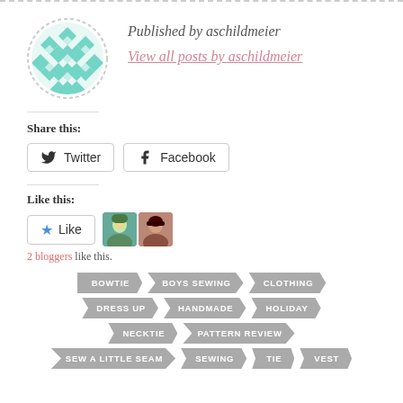Published by aschildmeier
View all posts by aschildmeier
Share this:
Twitter  Facebook
Like this:
2 bloggers like this.
BOWTIE
BOYS SEWING
CLOTHING
DRESS UP
HANDMADE
HOLIDAY
NECKTIE
PATTERN REVIEW
SEW A LITTLE SEAM
SEWING
TIE
VEST